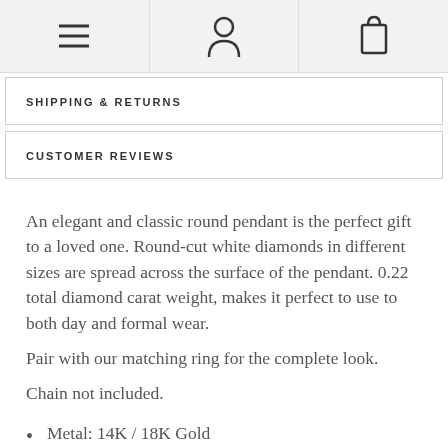Navigation icons: menu, account, cart
SHIPPING & RETURNS
CUSTOMER REVIEWS
An elegant and classic round pendant is the perfect gift to a loved one. Round-cut white diamonds in different sizes are spread across the surface of the pendant. 0.22 total diamond carat weight, makes it perfect to use to both day and formal wear.
Pair with our matching ring for the complete look.
Chain not included.
Metal: 14K / 18K Gold
Color: Rose Gold